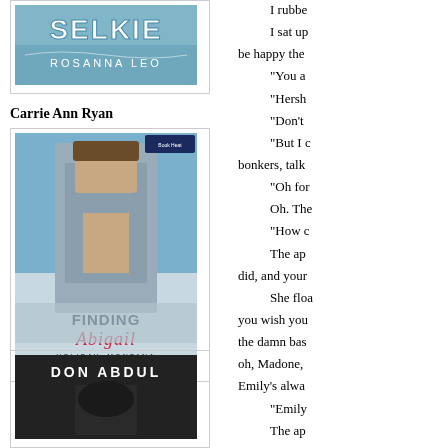[Figure (illustration): Book cover for 'Selkie' by Rosanna Leo with blue/teal background]
Carrie Ann Ryan
[Figure (illustration): Book cover for 'Finding Abigail' Holiday, Montana by Carrie Ann Ryan, showing shirtless man]
[Figure (illustration): Book cover for Don Abdul with dark background]
I rubbe
 I sat up
be happy the
 "You a
 "Hersh
 "Don't
 "But I c
bonkers, talk
 "Oh for
 Oh. The
 "How c
 The ap
did, and your
 She floa
you wish you
the damn bas
oh, Madone,
Emily's alwa
 "Emily
 The ap
the most unc
time."
 Another